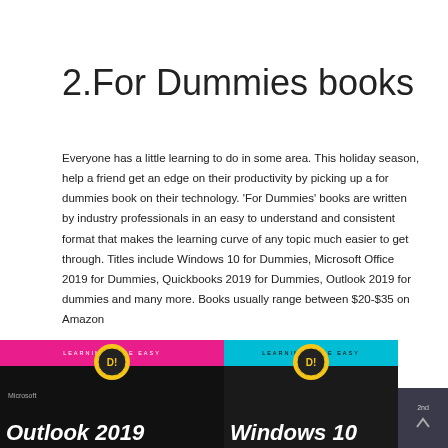2.For Dummies books
Everyone has a little learning to do in some area. This holiday season, help a friend get an edge on their productivity by picking up a for dummies book on their technology. 'For Dummies' books are written by industry professionals in an easy to understand and consistent format that makes the learning curve of any topic much easier to get through. Titles include Windows 10 for Dummies, Microsoft Office 2019 for Dummies, Quickbooks 2019 for Dummies, Outlook 2019 for dummies and many more. Books usually range between $20-$35 on Amazon
Follow us
[Figure (illustration): Two For Dummies book covers: Microsoft Outlook 2019 (magenta top bar) and Windows 10 (cyan top bar), with the Dummies logo on each]